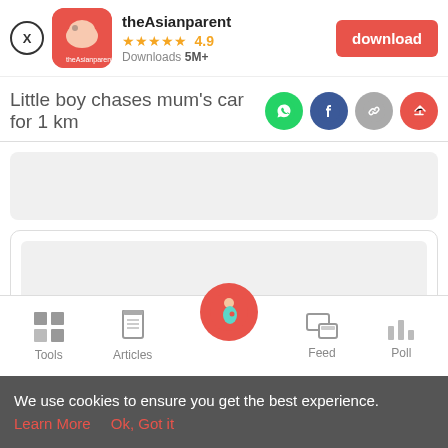[Figure (screenshot): App banner for theAsianparent showing app icon, rating 4.9 stars, Downloads 5M+, and a red download button]
Little boy chases mum's car for 1 km
[Figure (infographic): Share icons: WhatsApp (green), Facebook (dark blue), link (grey), share (red/pink)]
[Figure (infographic): Grey placeholder content box (rounded rectangle)]
[Figure (infographic): Outlined box with inner grey placeholder content]
[Figure (infographic): Bottom navigation bar with Tools, Articles, Home (pink circle with pregnant woman icon), Feed, Poll]
We use cookies to ensure you get the best experience.
Learn More    Ok, Got it